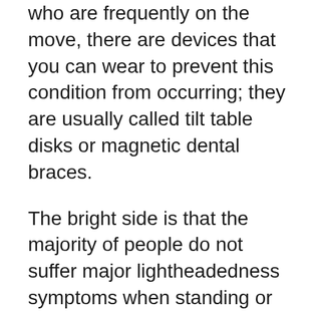who are frequently on the move, there are devices that you can wear to prevent this condition from occurring; they are usually called tilt table disks or magnetic dental braces.
The bright side is that the majority of people do not suffer major lightheadedness symptoms when standing or sitting for three times longer than recommended. Nevertheless, prolonged sitting can really trigger significant conditions such as repetitive strain injury, weakness of the jaw muscle mass, and also damages to the internal ear. The best thing that you can do is to take your time when sitting, and stand up when needed. This will help to reduce your risk of having wooziness symptoms.